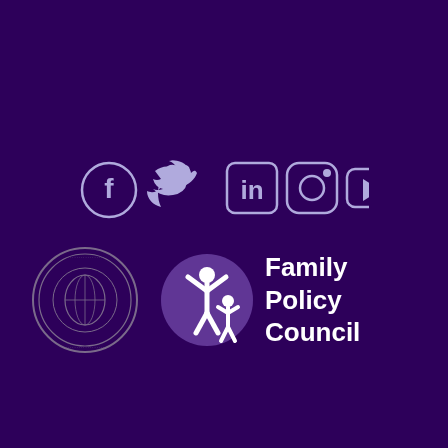[Figure (logo): Social media icons row: Facebook, Twitter, LinkedIn, Instagram, YouTube in light blue/lavender on dark purple background]
[Figure (logo): Government/organizational seal on left (circular emblem with detailed imagery), and Family Policy Council logo on right (purple circle with white figure of adult and child, text reads Family Policy Council in white)]